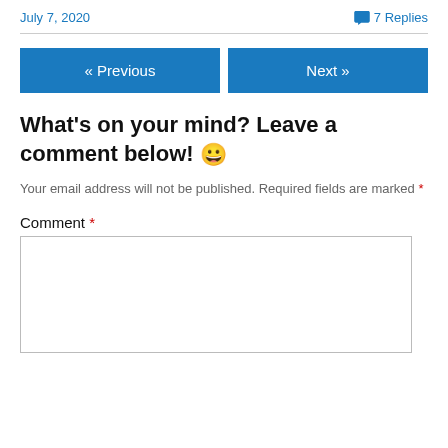July 7, 2020   💬 7 Replies
« Previous   Next »
What's on your mind? Leave a comment below! 😀
Your email address will not be published. Required fields are marked *
Comment *